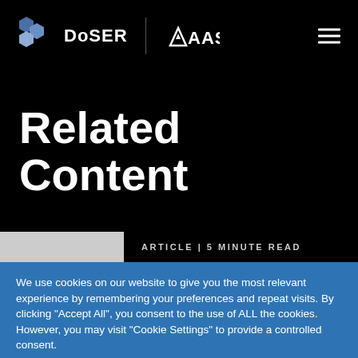DoSER | AAAS
Related Content
ARTICLE | 5 MINUTE READ
We use cookies on our website to give you the most relevant experience by remembering your preferences and repeat visits. By clicking "Accept All", you consent to the use of ALL the cookies. However, you may visit "Cookie Settings" to provide a controlled consent.
Cookie Settings   Accept All